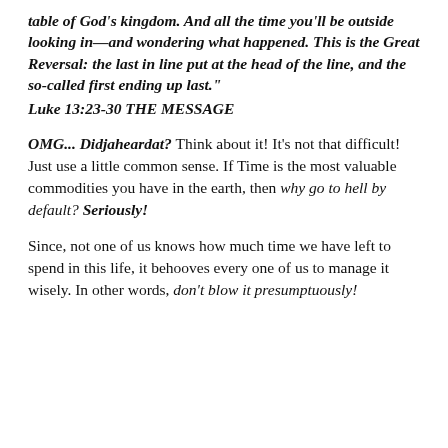table of God's kingdom. And all the time you'll be outside looking in—and wondering what happened. This is the Great Reversal: the last in line put at the head of the line, and the so-called first ending up last."
Luke 13:23-30 THE MESSAGE
OMG... Didjaheardat? Think about it! It's not that difficult! Just use a little common sense. If Time is the most valuable commodities you have in the earth, then why go to hell by default? Seriously!
Since, not one of us knows how much time we have left to spend in this life, it behooves every one of us to manage it wisely. In other words, don't blow it presumptuously!